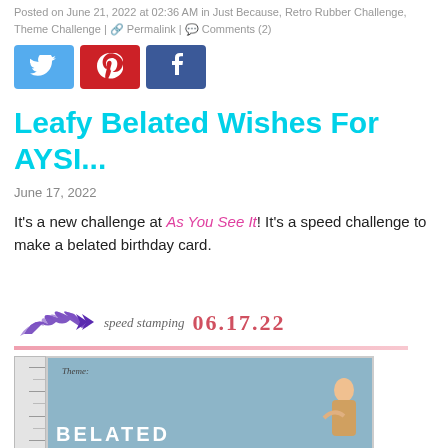Posted on June 21, 2022 at 02:36 AM in Just Because, Retro Rubber Challenge, Theme Challenge | Permalink | Comments (2)
[Figure (other): Three social media sharing buttons: Twitter (blue), Pinterest (red), Facebook (dark blue)]
Leafy Belated Wishes For AYSI...
June 17, 2022
It's a new challenge at As You See It!  It's a speed challenge to make a belated birthday card.
[Figure (screenshot): Speed stamping banner showing purple flame graphic, italic 'speed stamping' text, date '06.17.22' in red, pink horizontal line, and a card preview with blue background showing 'Theme:' in italic and 'BELATED' text in white, with a partial person image]